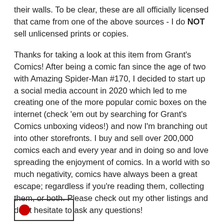their walls. To be clear, these are all officially licensed that came from one of the above sources - I do NOT sell unlicensed prints or copies.
Thanks for taking a look at this item from Grant's Comics! After being a comic fan since the age of two with Amazing Spider-Man #170, I decided to start up a social media account in 2020 which led to me creating one of the more popular comic boxes on the internet (check 'em out by searching for Grant's Comics unboxing videos!) and now I'm branching out into other storefronts. I buy and sell over 200,000 comics each and every year and in doing so and love spreading the enjoyment of comics. In a world with so much negativity, comics have always been a great escape; regardless if you're reading them, collecting them, or both. Please check out my other listings and don't hesitate to ask any questions!
sku #mcv1hc04301z
[Figure (logo): A small rectangular logo box with a red circle icon on the left side]